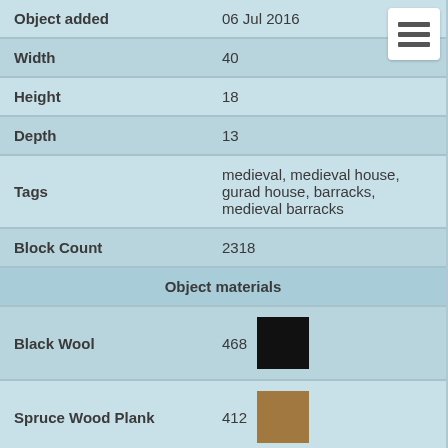| Property | Value |
| --- | --- |
| Object added | 06 Jul 2016 |
| Width | 40 |
| Height | 18 |
| Depth | 13 |
| Tags | medieval, medieval house, gurad house, barracks, medieval barracks |
| Block Count | 2318 |
| Object materials |  |
| Black Wool | 468 |
| Spruce Wood Plank | 412 |
| Grass | 218 |
| Oak Fence | 156 |